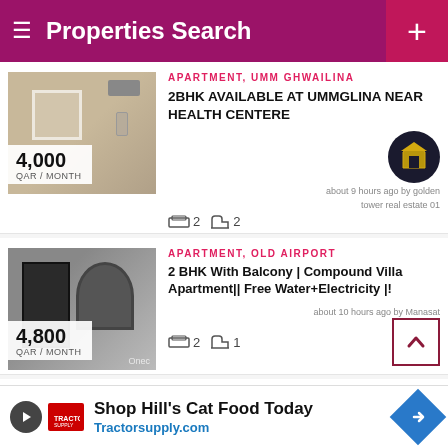Properties Search
APARTMENT, UMM GHWAILINA
2BHK AVAILABLE AT UMMGLINA NEAR HEALTH CENTERE
about 9 hours ago by golden tower real estate 01
2  2
[Figure (photo): Interior room photo with window and AC unit, price 4,000 QAR/MONTH]
APARTMENT, OLD AIRPORT
2 BHK With Balcony | Compound Villa Apartment|| Free Water+Electricity |!
about 10 hours ago by Manasat Emaar
2  1
[Figure (photo): Door/entrance photo, price 4,800 QAR/MONTH]
APARTMENT, FEREEJ BIN MAHMOUD
3BHK Apartment Available at Fereej Bin
[Figure (photo): Room interior photo, price 7,500 QAR/MONTH]
Shop Hill's Cat Food Today Tractorsupply.com